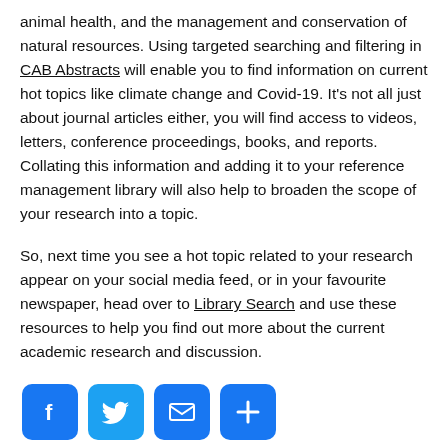animal health, and the management and conservation of natural resources. Using targeted searching and filtering in CAB Abstracts will enable you to find information on current hot topics like climate change and Covid-19. It's not all just about journal articles either, you will find access to videos, letters, conference proceedings, books, and reports. Collating this information and adding it to your reference management library will also help to broaden the scope of your research into a topic.
So, next time you see a hot topic related to your research appear on your social media feed, or in your favourite newspaper, head over to Library Search and use these resources to help you find out more about the current academic research and discussion.
[Figure (infographic): Four blue social sharing icon buttons in a row: Facebook (f), Twitter (bird), Email (envelope), and a share/add (+) button.]